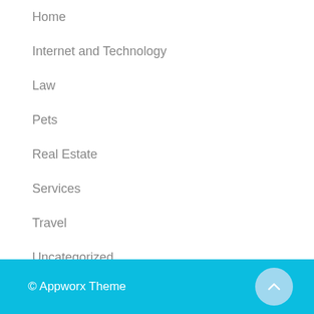Home
Internet and Technology
Law
Pets
Real Estate
Services
Travel
Uncategorized
© Appworx Theme